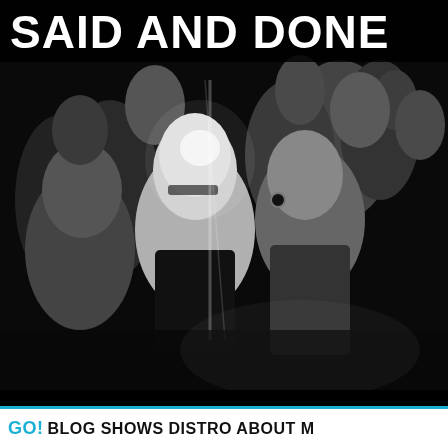SAID AND DONE
[Figure (photo): Black and white photo of a group of people at what appears to be a punk/hardcore music show or concert, several figures visible including a bald man in the foreground, crowded scene with dramatic lighting]
GO! BLOG SHOWS DISTRO ABOUT M